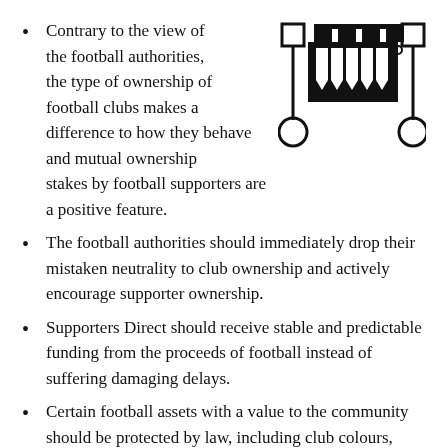Contrary to the view of the football authorities, the type of ownership of football clubs makes a difference to how they behave and mutual ownership stakes by football supporters are a positive feature.
[Figure (illustration): Black and white organizational diagram showing a hierarchical network with squares at top connected by lines to downward-pointing arrow shapes and circles at the bottom, with two squares on the far left and right sides connected by vertical lines to circles below.]
The football authorities should immediately drop their mistaken neutrality to club ownership and actively encourage supporter ownership.
Supporters Direct should receive stable and predictable funding from the proceeds of football instead of suffering damaging delays.
Certain football assets with a value to the community should be protected by law, including club colours, club name and home ground ownership.
As a result of the lack of action from the football authorities, Government should now legislate for the